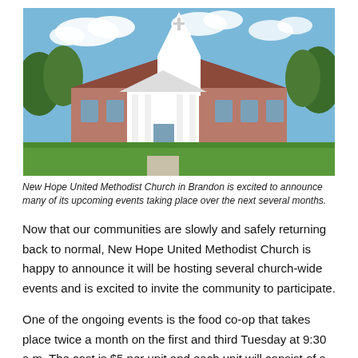[Figure (photo): Exterior photograph of New Hope United Methodist Church in Brandon, showing a white steeple, red brick building, covered entrance with white columns, green lawn, and blue sky with clouds.]
New Hope United Methodist Church in Brandon is excited to announce many of its upcoming events taking place over the next several months.
Now that our communities are slowly and safely returning back to normal, New Hope United Methodist Church is happy to announce it will be hosting several church-wide events and is excited to invite the community to participate.
One of the ongoing events is the food co-op that takes place twice a month on the first and third Tuesday at 9:30 a.m. The cost is $5 per unit and each unit will consist of a hefty